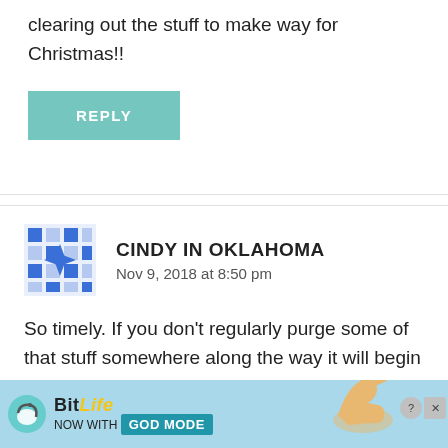clearing out the stuff to make way for Christmas!!
REPLY
CINDY IN OKLAHOMA
Nov 9, 2018 at 8:50 pm
So timely. If you don't regularly purge some of that stuff somewhere along the way it will begin to suck the life out of why we all love Christmas so. Because I'm not a blogger I don't feel the need to decorate before
[Figure (screenshot): BitLife ad banner with 'NOW WITH GOD MODE' text and hand illustration]